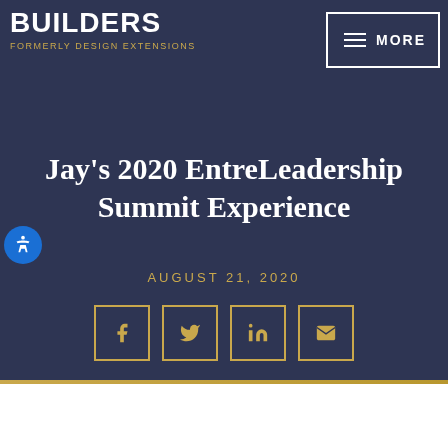BUILDERS / FORMERLY DESIGN EXTENSIONS | MORE
Jay’s 2020 EntreLeadership Summit Experience
AUGUST 21, 2020
[Figure (infographic): Social share icons: Facebook, Twitter, LinkedIn, Email — each in a gold-bordered square]